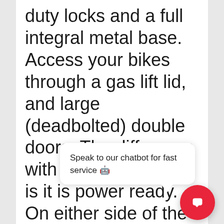duty locks and a full integral metal base. Access your bikes through a gas lift lid, and large (deadbolted) double doors. The difference with the e-bike store is it is power ready. On either side of the uni mourti electrical sockets allowing you to moun power modules inside
Speak to our chatbot for fast service 🤖